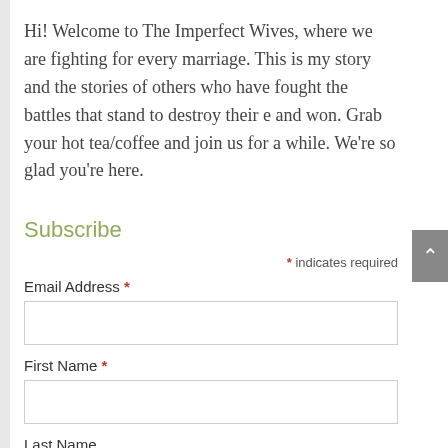Hi! Welcome to The Imperfect Wives, where we are fighting for every marriage. This is my story and the stories of others who have fought the battles that stand to destroy their e and won. Grab your hot tea/coffee and join us for a while. We're so glad you're here.
Subscribe
* indicates required
Email Address *
First Name *
Last Name